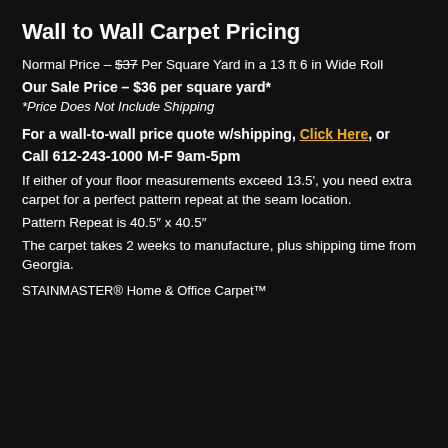Wall to Wall Carpet Pricing
Normal Price – $37 Per Square Yard in a 13 ft 6 in Wide Roll
Our Sale Price – $36 per square yard*
*Price Does Not Include Shipping
For a wall-to-wall price quote w/shipping, Click Here, or
Call 612-243-1000 M-F 9am-5pm
If either of your floor measurements exceed 13.5', you need extra carpet for a perfect pattern repeat at the seam location.
Pattern Repeat is 40.5" x 40.5"
The carpet takes 2 weeks to manufacture, plus shipping time from Georgia.
STAINMASTER® Home & Office Carpet™